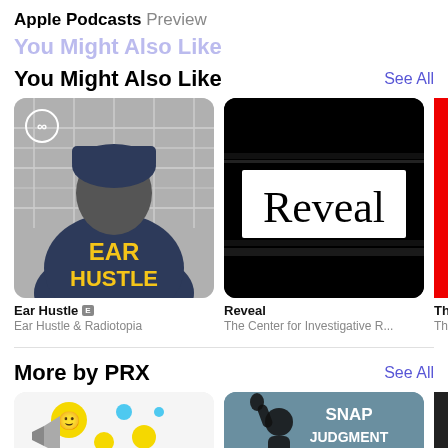Apple Podcasts Preview
You Might Also Like
See All
[Figure (photo): Ear Hustle podcast cover art: person in navy jacket with 'EAR HUSTLE' in yellow text on back, black and white background]
Ear Hustle [E]
Ear Hustle & Radiotopia
[Figure (photo): Reveal podcast cover art: black background with white box containing 'Reveal' in serif font]
Reveal
The Center for Investigative R...
Th
Th
More by PRX
See All
[Figure (photo): Podcast artwork with smiley faces and colorful circles on white background, partially shows 'THS' text]
[Figure (photo): Snap Judgment podcast cover art on teal/grey background with person raising hand and 'SNAP JUDGMENT' text]
[Figure (photo): Third podcast thumbnail partially visible, dark background]